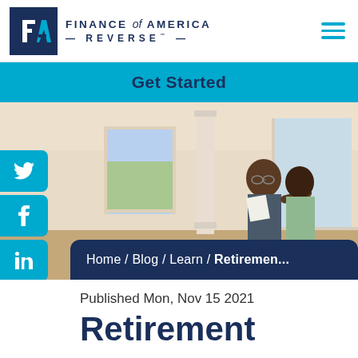[Figure (logo): Finance of America Reverse logo with dark blue square icon and brand text]
Get Started
[Figure (photo): An older couple smiling inside a bright home, man pointing at something while holding papers]
Home / Blog / Learn / Retiremen...
Published Mon, Nov 15 2021
Retirement